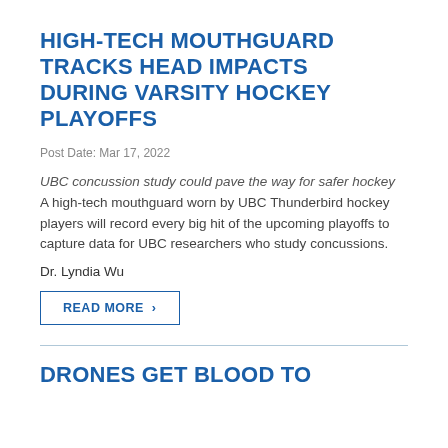HIGH-TECH MOUTHGUARD TRACKS HEAD IMPACTS DURING VARSITY HOCKEY PLAYOFFS
Post Date: Mar 17, 2022
UBC concussion study could pave the way for safer hockey
A high-tech mouthguard worn by UBC Thunderbird hockey players will record every big hit of the upcoming playoffs to capture data for UBC researchers who study concussions.
Dr. Lyndia Wu
READ MORE ›
DRONES GET BLOOD TO